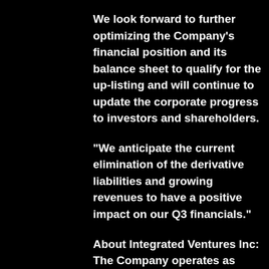We look forward to further optimizing the Company's financial position and its balance sheet to qualify for the up-listing and will continue to update the corporate progress to investors and shareholders.
"We anticipate the current elimination of the derivative liabilities and growing revenues to have a positive impact on our Q3 financials."
About Integrated Ventures Inc: The Company operates as Technology Holdings Company with focus on cryptocurrency sector.
For more information, please visit